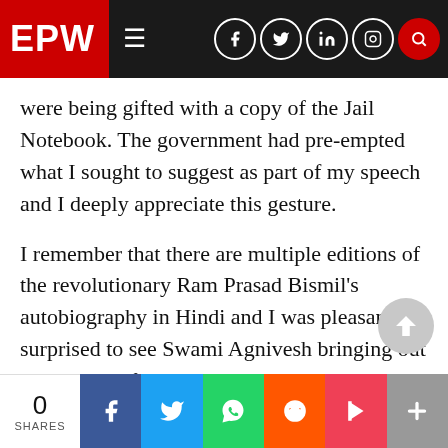EPW
were being gifted with a copy of the Jail Notebook. The government had pre-empted what I sought to suggest as part of my speech and I deeply appreciate this gesture.
I remember that there are multiple editions of the revolutionary Ram Prasad Bismil's autobiography in Hindi and I was pleasantly surprised to see Swami Agnivesh bringing out the edition of that autobiography at just Rs 5 per copy and which his organisation distributed to school students almost free of cost. The Notebook is now part of the Government of India's publication division;
0 SHARES